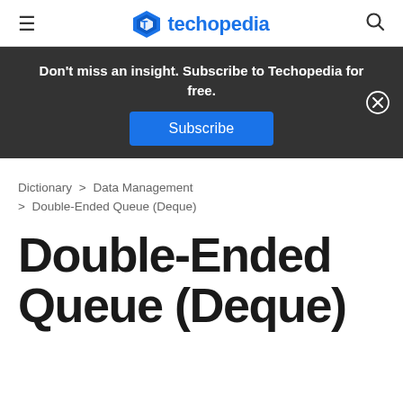≡  techopedia  🔍
Don't miss an insight. Subscribe to Techopedia for free.
Subscribe
Dictionary > Data Management > Double-Ended Queue (Deque)
Double-Ended Queue (Deque)